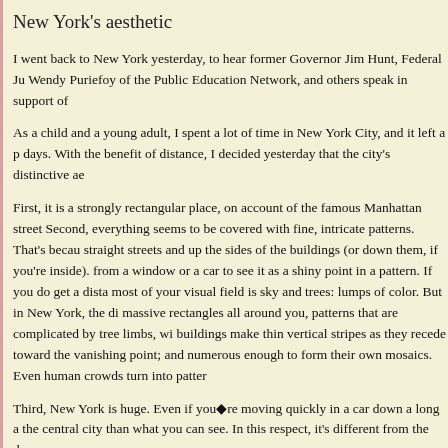New York's aesthetic
I went back to New York yesterday, to hear former Governor Jim Hunt, Federal Ju Wendy Puriefoy of the Public Education Network, and others speak in support of
As a child and a young adult, I spent a lot of time in New York City, and it left a p days. With the benefit of distance, I decided yesterday that the city's distinctive ae
First, it is a strongly rectangular place, on account of the famous Manhattan street Second, everything seems to be covered with fine, intricate patterns. That's becau straight streets and up the sides of the buildings (or down them, if you're inside). from a window or a car to see it as a shiny point in a pattern. If you do get a dista most of your visual field is sky and trees: lumps of color. But in New York, the di massive rectangles all around you, patterns that are complicated by tree limbs, wi buildings make thin vertical stripes as they recede toward the vanishing point; and numerous enough to form their own mosaics. Even human crowds turn into patter
Third, New York is huge. Even if you◆re moving quickly in a car down a long a the central city than what you can see. In this respect, it's different from the dense
Rectangularity, delicate pattern, and vast scale: these three concepts combine to g look. Within this structure, more concrete and idiosyncratic aspects of the city aw horns, the smell of chestnuts and hotdog-water from vending carts, the deadened of pedestrians jay-walking at the first break in traffic.